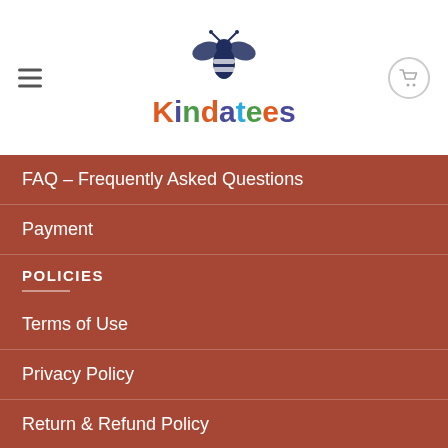Kindatees — logo and navigation header
FAQ – Frequently Asked Questions
Payment
POLICIES
Terms of Use
Privacy Policy
Return & Refund Policy
Shipping & Delivery Info
Taxes & Duties